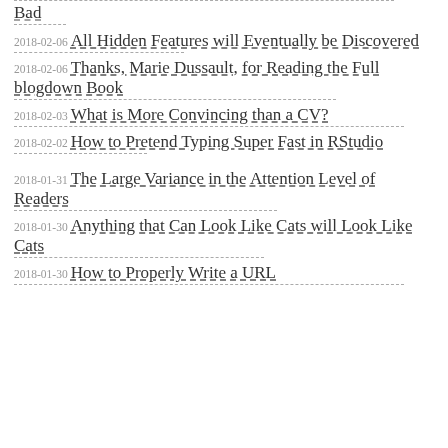Bad
2018-02-06 All Hidden Features will Eventually be Discovered
2018-02-06 Thanks, Marie Dussault, for Reading the Full blogdown Book
2018-02-03 What is More Convincing than a CV?
2018-02-02 How to Pretend Typing Super Fast in RStudio
2018-01-31 The Large Variance in the Attention Level of Readers
2018-01-30 Anything that Can Look Like Cats will Look Like Cats
2018-01-30 How to Properly Write a URL